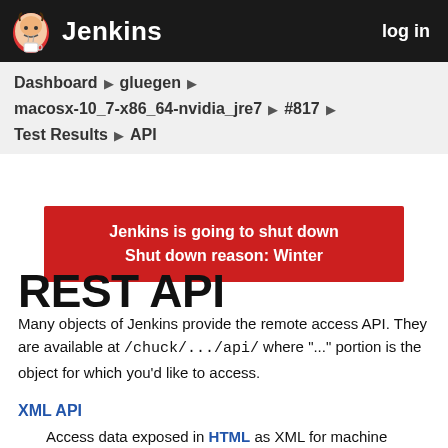Jenkins  log in
Dashboard ▶ gluegen ▶
macosx-10_7-x86_64-nvidia_jre7 ▶ #817 ▶
Test Results ▶ API
Jenkins is going to shut down
Shut down reason: Winter
REST API
Many objects of Jenkins provide the remote access API. They are available at /chuck/.../api/ where "..." portion is the object for which you'd like to access.
XML API
Access data exposed in HTML as XML for machine